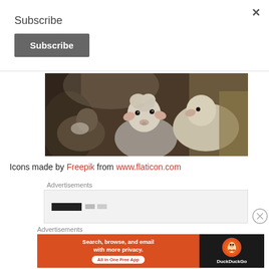×
Subscribe
Subscribe (button)
[Figure (photo): A young lamb in the foreground looking at the camera, surrounded by other sheep in a barn setting with hay.]
Icons made by Freepik from www.flaticon.com
Advertisements
[Figure (screenshot): Partial advertisement box with a dark bar and gray bars visible.]
Advertisements
[Figure (screenshot): DuckDuckGo advertisement banner: 'Search, browse, and email with more privacy. All in One Free App' on orange background with DuckDuckGo logo on dark background.]